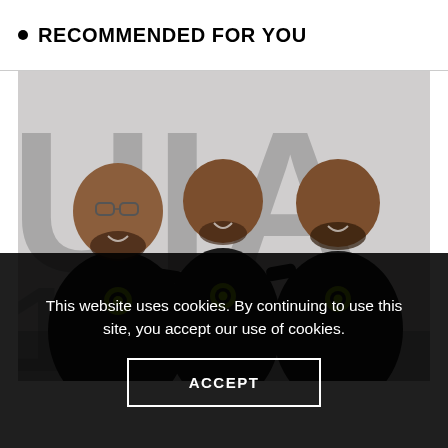RECOMMENDED FOR YOU
[Figure (photo): Three men standing together in black t-shirts with a logo, posing in front of a wall with large text letters visible in the background.]
This website uses cookies. By continuing to use this site, you accept our use of cookies.
ACCEPT